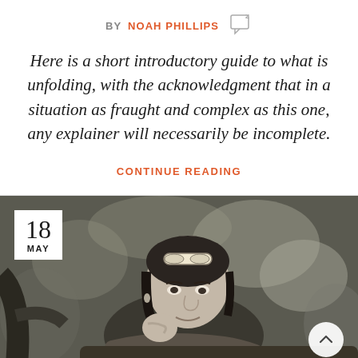BY NOAH PHILLIPS
Here is a short introductory guide to what is unfolding, with the acknowledgment that in a situation as fraught and complex as this one, any explainer will necessarily be incomplete.
CONTINUE READING
[Figure (photo): Black and white portrait photograph of a woman leaning on a tree branch, wearing sunglasses on her head, looking at the camera with a slight smile. Date badge showing '18 MAY' in top left corner.]